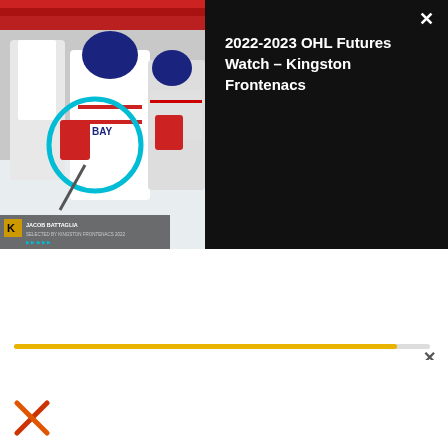[Figure (screenshot): Hockey game thumbnail showing players in white and red jerseys on ice, with a teal circle highlight overlay and a player name label overlay at bottom left]
2022-2023 OHL Futures Watch – Kingston Frontenacs
[Figure (other): Video progress bar with yellow/gold fill at approximately 92% completion, with an X close button to the right]
[Figure (logo): X (Twitter) logo in red/orange at bottom left of page]